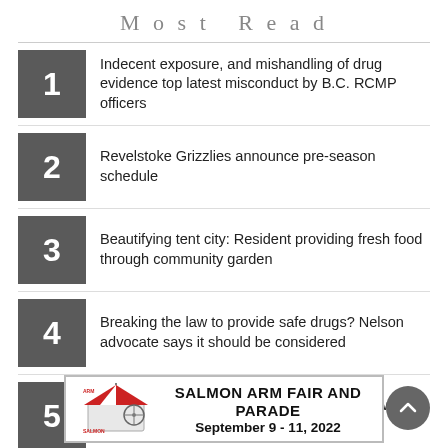Most Read
Indecent exposure, and mishandling of drug evidence top latest misconduct by B.C. RCMP officers
Revelstoke Grizzlies announce pre-season schedule
Beautifying tent city: Resident providing fresh food through community garden
Breaking the law to provide safe drugs? Nelson advocate says it should be considered
Washout causes exposed gas main on Highway 97 in Penticton
[Figure (other): Advertisement banner for Salmon Arm Fair and Parade, September 9 - 11, 2022]